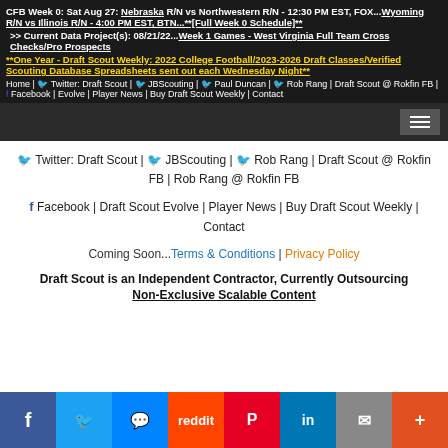CFB Week 0: Sat Aug 27: Nebraska R/N vs Northwestern R/N - 12:30 PM EST, FOX...Wyoming R/N vs Illinois R/N - 4:00 PM EST, BTN...**[Full Week 0 Schedule]**
>> Current Data Project(s): 08/21/22...Week 1 Games - West Virginia Full Team Cross Checks/Pro Prospects
**One Year - Draft Scout Weekly: 2022 College Football/2023-2026 Draft Classes/Verified Scouting Database Spreadsheets sent out each Wednesday Night**
Home | Twitter: Draft Scout | JBScouting | Paul Duncan | Rob Rang | Draft Scout @ Rokfin FB | Facebook | Evolve | Player News | Buy Draft Scout Weekly | Contact
Twitter: Draft Scout | JBScouting | Rob Rang | Draft Scout @ Rokfin FB | Rob Rang @ Rokfin FB
Facebook | Draft Scout Evolve | Player News | Buy Draft Scout Weekly | Contact
Coming Soon...Terms & Conditions | Privacy Policy
Draft Scout is an Independent Contractor, Currently Outsourcing Non-Exclusive Scalable Content